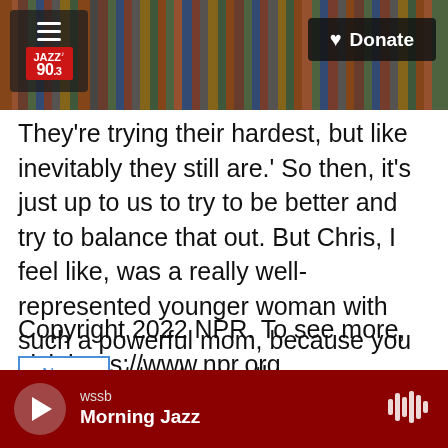[Figure (screenshot): App header bar with bookshelf background, Jazz 90.3 logo on left, Donate button on right]
They're trying their hardest, but like inevitably they still are.' So then, it's just up to us to try to be better and try to balance that out. But Chris, I feel like, was a really well-represented younger woman with such a powerful mom, because you don't want to step on those eggshells. You don't want to cross that line because you love this person so much and they're your everything.
Copyright 2022 NPR. To see more, visit https://www.npr.org.
News
wssb Morning Jazz